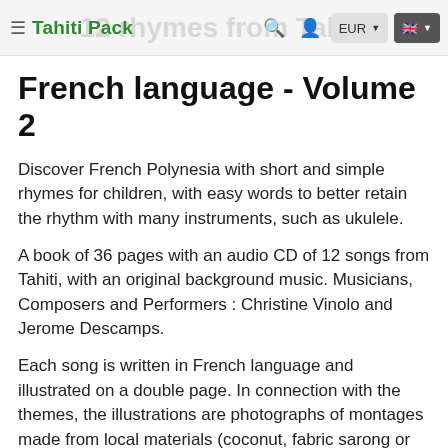≡ Tahiti Pack  12 rhymes from Tahiti  🔍  👤  EUR ▾  🇬🇧 ▾
French language - Volume 2
Discover French Polynesia with short and simple rhymes for children, with easy words to better retain the rhythm with many instruments, such as ukulele.
A book of 36 pages with an audio CD of 12 songs from Tahiti, with an original background music. Musicians, Composers and Performers : Christine Vinolo and Jerome Descamps.
Each song is written in French language and illustrated on a double page. In connection with the themes, the illustrations are photographs of montages made from local materials (coconut, fabric sarong or pareo, pebbles, tiare flower, etc.).